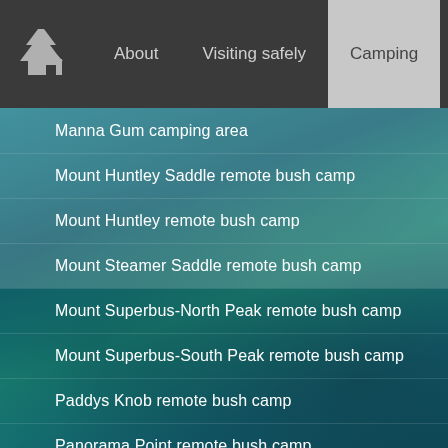About | Visiting safely | Camping | Journey
Manna Gum camping area
Mount Huntley Saddle remote bush camp
Mount Huntley remote bush camp
Mount Steamer Saddle remote bush camp
Mount Superbus-North Peak remote bush camp
Mount Superbus-South Peak remote bush camp
Paddys Knob remote bush camp
Panorama Point remote bush camp